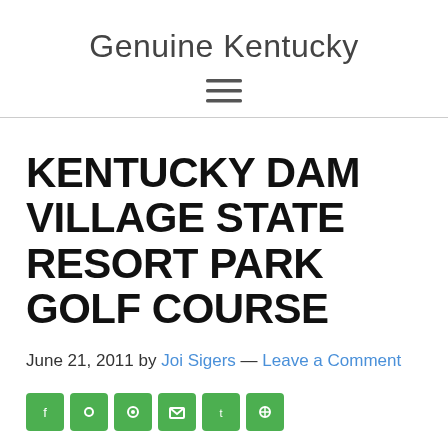Genuine Kentucky
KENTUCKY DAM VILLAGE STATE RESORT PARK GOLF COURSE
June 21, 2011 by Joi Sigers — Leave a Comment
[Figure (other): Row of green social media share buttons (icons partially visible at bottom)]